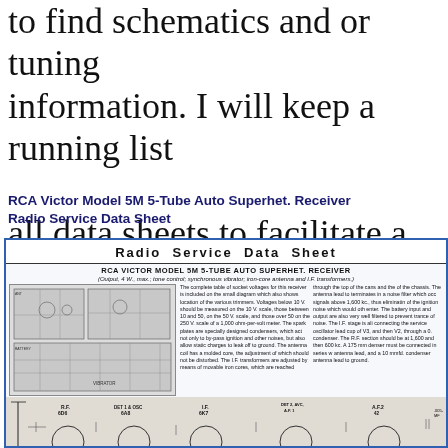to find schematics and or tuning information. I will keep a running list all data sheets to facilitate a search.
RCA Victor Model 5M 5-Tube Auto Superhet. Receiver Radio Service Data Sheet
[Figure (schematic): Radio Service Data Sheet for RCA Victor Model 5M 5-Tube Auto Superhet. Receiver. Contains circuit schematic diagrams, technical text describing socket voltages, spark plates, I.F. transformers, antenna coil, and vibrator. Shows tube positions including RF 6D6, DET 1 & OSC 6A8, IF 6K7, DET 2/AVC/AF 1, and AF2, with full circuit schematic at bottom.]